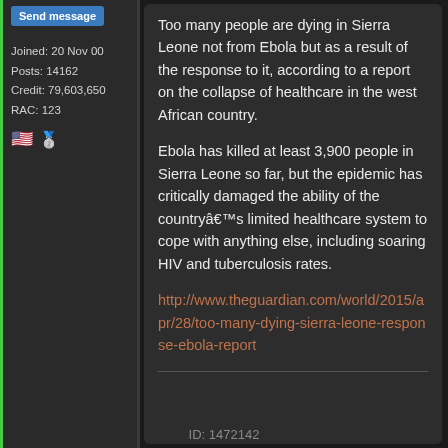Send message
Joined: 20 Nov 00
Posts: 14162
Credit: 79,603,650
RAC: 123
Too many people are dying in Sierra Leone not from Ebola but as a result of the response to it, according to a report on the collapse of healthcare in the west African country.

Ebola has killed at least 3,900 people in Sierra Leone so far, but the epidemic has critically damaged the ability of the countryâ€™s limited healthcare system to cope with anything else, including soaring HIV and tuberculosis rates.
http://www.theguardian.com/world/2015/apr/28/too-many-dying-sierra-leone-response-ebola-report
ID: 1472142